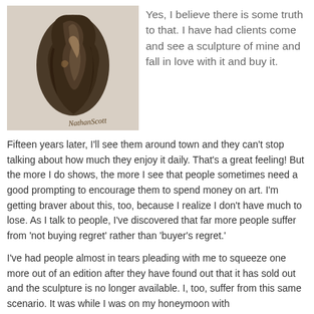[Figure (photo): Bronze sculpture of an abstract human/animal figure, dark patina, signed 'NathanScott' in cursive at the bottom right of the photo]
Yes, I believe there is some truth to that. I have had clients come and see a sculpture of mine and fall in love with it and buy it.
Fifteen years later, I'll see them around town and they can't stop talking about how much they enjoy it daily. That's a great feeling! But the more I do shows, the more I see that people sometimes need a good prompting to encourage them to spend money on art. I'm getting braver about this, too, because I realize I don't have much to lose. As I talk to people, I've discovered that far more people suffer from 'not buying regret' rather than 'buyer's regret.'
I've had people almost in tears pleading with me to squeeze one more out of an edition after they have found out that it has sold out and the sculpture is no longer available. I, too, suffer from this same scenario. It was while I was on my honeymoon with